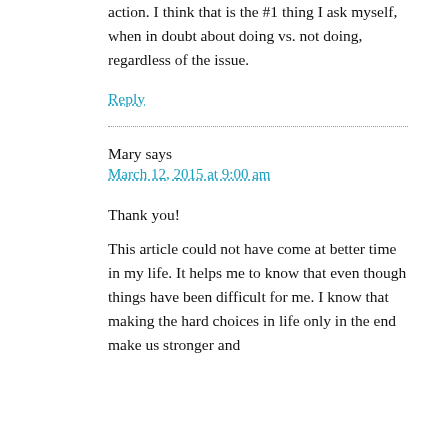action. I think that is the #1 thing I ask myself, when in doubt about doing vs. not doing, regardless of the issue.
Reply
Mary says
March 12, 2015 at 9:00 am
Thank you!
This article could not have come at better time in my life. It helps me to know that even though things have been difficult for me. I know that making the hard choices in life only in the end make us stronger and